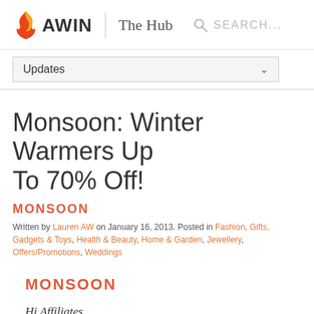AWIN | The Hub   SEARCH...
Updates
Monsoon: Winter Warmers Up To 70% Off!
MONSOON
Written by Lauren AW on January 16, 2013. Posted in Fashion, Gifts, Gadgets & Toys, Health & Beauty, Home & Garden, Jewellery, Offers/Promotions, Weddings
MONSOON
Hi Affiliates,
I hope you're having a good week!